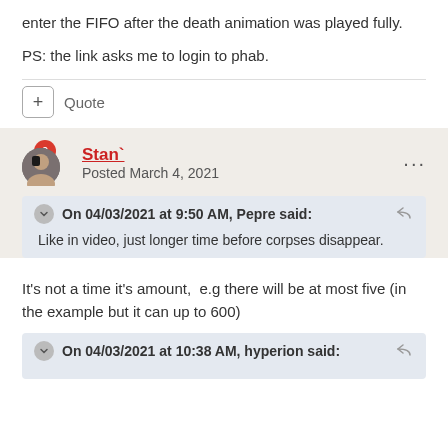enter the FIFO after the death animation was played fully.
PS: the link asks me to login to phab.
+ Quote
Stan`
Posted March 4, 2021
On 04/03/2021 at 9:50 AM, Pepre said:
Like in video, just longer time before corpses disappear.
It's not a time it's amount,  e.g there will be at most five (in the example but it can up to 600)
On 04/03/2021 at 10:38 AM, hyperion said: